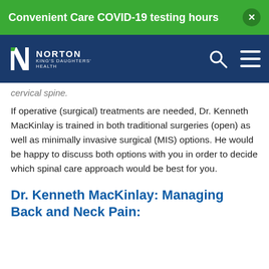Convenient Care COVID-19 testing hours
[Figure (logo): Norton King's Daughters' Health logo with navigation bar including search and menu icons]
cervical spine.
If operative (surgical) treatments are needed, Dr. Kenneth MacKinlay is trained in both traditional surgeries (open) as well as minimally invasive surgical (MIS) options. He would be happy to discuss both options with you in order to decide which spinal care approach would be best for you.
Dr. Kenneth MacKinlay: Managing Back and Neck Pain: